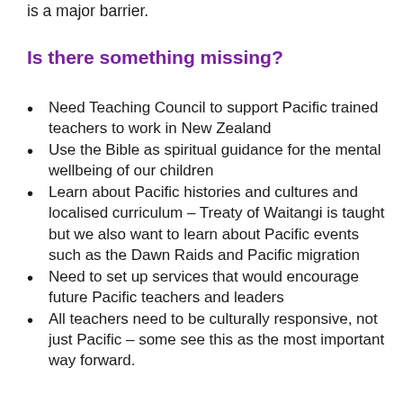is a major barrier.
Is there something missing?
Need Teaching Council to support Pacific trained teachers to work in New Zealand
Use the Bible as spiritual guidance for the mental wellbeing of our children
Learn about Pacific histories and cultures and localised curriculum – Treaty of Waitangi is taught but we also want to learn about Pacific events such as the Dawn Raids and Pacific migration
Need to set up services that would encourage future Pacific teachers and leaders
All teachers need to be culturally responsive, not just Pacific – some see this as the most important way forward.